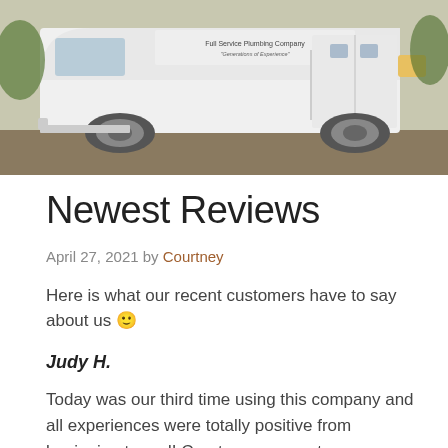[Figure (photo): White plumbing service van/truck with text 'Full Service Plumbing Company' and 'Generations of Experience' on side panel, parked outdoors.]
Newest Reviews
April 27, 2021 by Courtney
Here is what our recent customers have to say about us 🙂
Judy H.
Today was our third time using this company and all experiences were totally positive from beginning to end! Courteous, prompt response and trustworthy, excellent